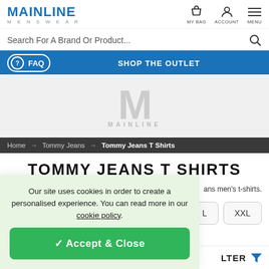MAINLINE MENSWEAR
Search For A Brand Or Product...
FAQ  SHOP THE OUTLET
[Figure (illustration): Mainline Menswear watermark logo with large M letter and MAINLINE text below in light grey on grey background]
Home → Tommy Jeans → Tommy Jeans T Shirts
TOMMY JEANS T SHIRTS
ans men's t-shirts.
Our site uses cookies in order to create a personalised experience. You can read more in our cookie policy.
✓ Accept & Close